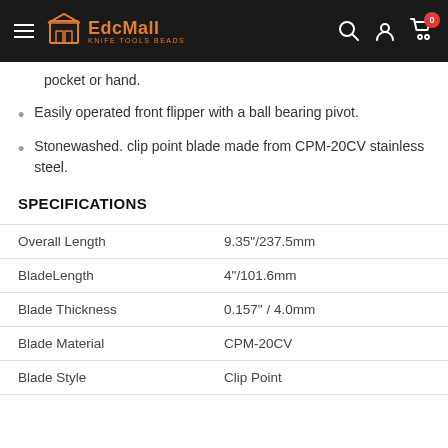EdcMall — KNIFE TOOLS BEADS
pocket or hand.
Easily operated front flipper with a ball bearing pivot.
Stonewashed. clip point blade made from CPM-20CV stainless steel.
SPECIFICATIONS
|  |  |
| --- | --- |
| Overall Length | 9.35"/237.5mm |
| BladeLength | 4"/101.6mm |
| Blade Thickness | 0.157" / 4.0mm |
| Blade Material | CPM-20CV |
| Blade Style | Clip Point |